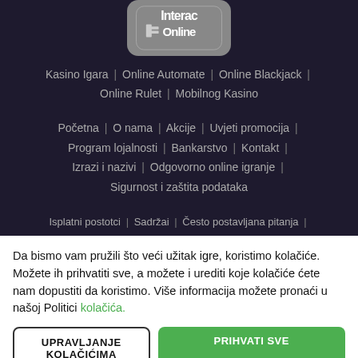[Figure (logo): Interac Online logo — stylized text logo on rounded rectangle background]
Kasino Igara | Online Automate | Online Blackjack | Online Rulet | Mobilnog Kasino
Početna | O nama | Akcije | Uvjeti promocija | Program lojalnosti | Bankarstvo | Kontakt | Izrazi i nazivi | Odgovorno online igranje | Sigurnost i zaštita podataka
Isplatni postotci | Sadržai | Često postavljana pitanja |
Da bismo vam pružili što veći užitak igre, koristimo kolačiće. Možete ih prihvatiti sve, a možete i urediti koje kolačiće ćete nam dopustiti da koristimo. Više informacija možete pronaći u našoj Politici kolačića.
UPRAVLJANJE KOLAČIĆIMA
PRIHVATI SVE